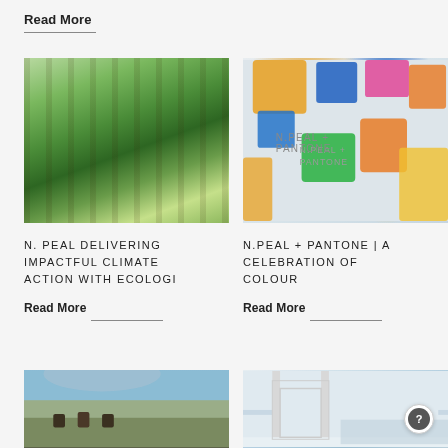Read More
[Figure (photo): Sunlit forest with tall green trees and bright green ground cover]
[Figure (photo): Colorful N.PEAL + PANTONE branded cashmere products in multiple colors on a light background]
N. PEAL DELIVERING IMPACTFUL CLIMATE ACTION WITH ECOLOGI
Read More
N.PEAL + PANTONE | A CELEBRATION OF COLOUR
Read More
[Figure (photo): People on horseback in a wide open landscape with mountains in the background]
[Figure (photo): Interior view through large glass doors/windows overlooking a coastal or ocean scene]